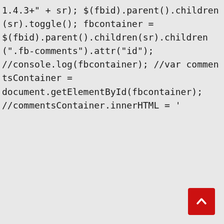1.4.3+" + sr); $(fbid).parent().children(sr).toggle(); fbcontainer = $(fbid).parent().children(sr).children(".fb-comments").attr("id"); //console.log(fbcontainer); //var commentsContainer = document.getElementById(fbcontainer); //commentsContainer.innerHTML = '
[Figure (other): Red scroll-to-top button with white upward chevron arrow, positioned in bottom-right corner]